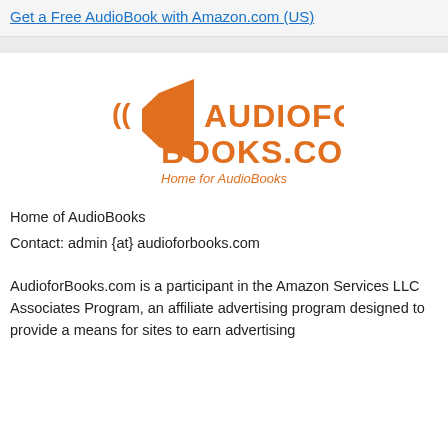Get a Free AudioBook with Amazon.com (US)
[Figure (logo): AudioForBooks.com logo with orange speaker icon and orange bold text 'AUDIOFOR BOOKS.COM' and subtitle 'Home for AudioBooks']
Home of AudioBooks
Contact: admin {at} audioforbooks.com
AudioforBooks.com is a participant in the Amazon Services LLC Associates Program, an affiliate advertising program designed to provide a means for sites to earn advertising